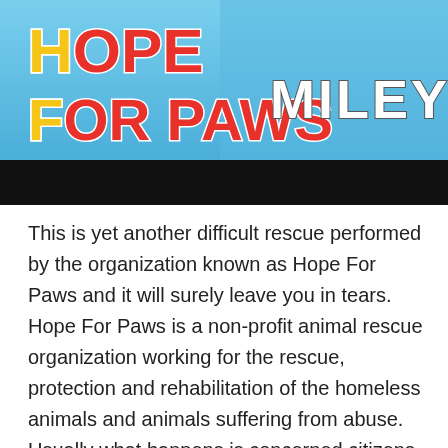[Figure (screenshot): Hope For Paws banner with blue background showing logo text 'HOPE FOR PAWS' in bold red and yellow letters on the left, and 'MILEY' in bold white text on the right. Below the banner is a black bar.]
This is yet another difficult rescue performed by the organization known as Hope For Paws and it will surely leave you in tears. Hope For Paws is a non-profit animal rescue organization working for the rescue, protection and rehabilitation of the homeless animals and animals suffering from abuse. Usually what happens is concerned citizens will call and notify them of a stray that needs to be rescued, and that's what happened with Miley.